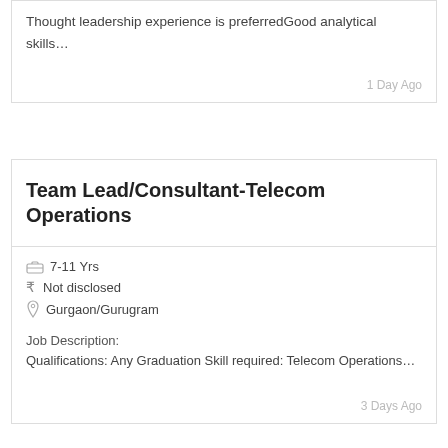Thought leadership experience is preferredGood analytical skills…
1 Day Ago
Team Lead/Consultant-Telecom Operations
7-11 Yrs
Not disclosed
Gurgaon/Gurugram
Job Description:
Qualifications: Any Graduation Skill required: Telecom Operations…
3 Days Ago